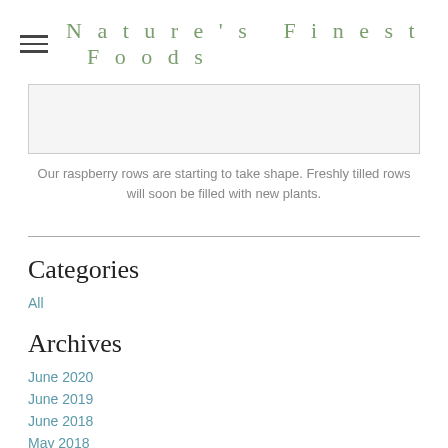Nature's Finest Foods
[Figure (photo): Partially visible image (cropped at top) of raspberry rows being tilled and prepared for planting.]
Our raspberry rows are starting to take shape. Freshly tilled rows will soon be filled with new plants.
Categories
All
Archives
June 2020
June 2019
June 2018
May 2018